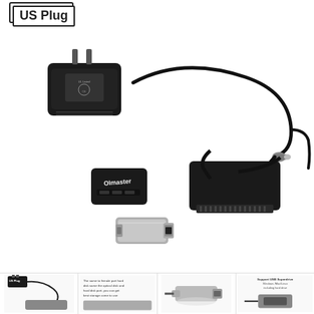[Figure (photo): Product photo showing OImaster SATA to USB adapter cable with US plug power adapter (wall charger), SATA connector, USB-A ports on adapter body, and a USB-C to USB-A adapter dongle. The label 'US Plug' appears in the top-left corner with a rectangle outline around it.]
US Plug
[Figure (photo): Thumbnail strip at bottom showing four small product images: (1) US Plug adapter with cable on a hard drive, (2) text description with hard drive image, (3) USB-C adapter close-up, (4) text about support for hard drive types with a device image.]